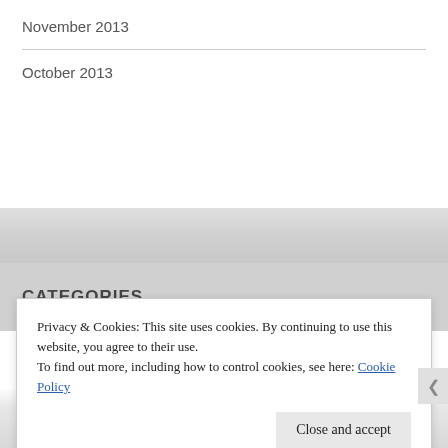November 2013
October 2013
CATEGORIES
Uncategorized
Privacy & Cookies: This site uses cookies. By continuing to use this website, you agree to their use.
To find out more, including how to control cookies, see here: Cookie Policy
Close and accept